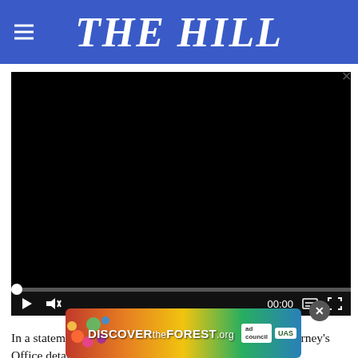THE HILL
[Figure (screenshot): Embedded video player with black screen, video controls showing play button, mute icon, 00:00 timestamp, subtitles button, and fullscreen button]
In a statement on Monday, the Waller County District Attorney's Office detailed the results of its investigation.
"On S... his
[Figure (other): Advertisement banner for DiscovertheForest.org showing colorful forest imagery with Ad Council and US Forest Service logos]